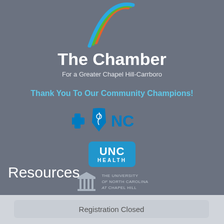[Figure (logo): The Chamber For a Greater Chapel Hill-Carrboro logo with colorful arc swoosh (orange, green, blue) on dark gray background]
The Chamber
For a Greater Chapel Hill-Carrboro
Thank You To Our Community Champions!
[Figure (logo): Blue Cross Blue Shield of North Carolina logo]
[Figure (logo): UNC Health logo in blue rounded rectangle]
[Figure (logo): The University of North Carolina at Chapel Hill logo with building icon]
Resources
Registration Closed